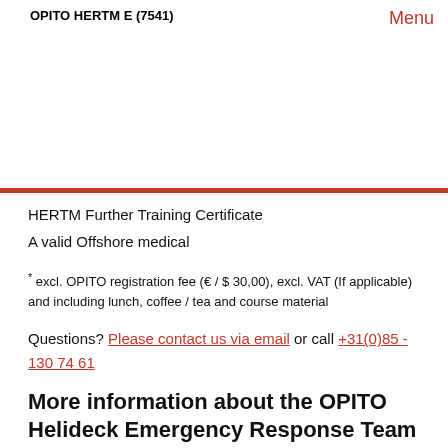OPITO HERTM E (7541)
Menu
HERTM Further Training Certificate
A valid Offshore medical
* excl. OPITO registration fee (€ / $ 30,00), excl. VAT (If applicable) and including lunch, coffee / tea and course material
Questions? Please contact us via email or call +31(0)85 - 130 74 61
More information about the OPITO Helideck Emergency Response Team